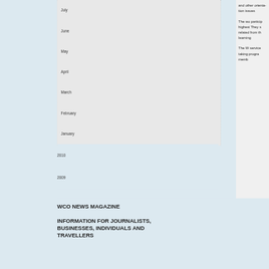July
June
May
April
March
February
January
2010
2009
and other orientation issues
The workshop participants highest They s related from the learning
The WCO services taking program members
WCO NEWS MAGAZINE
INFORMATION FOR JOURNALISTS, BUSINESSES, INDIVIDUALS AND TRAVELLERS